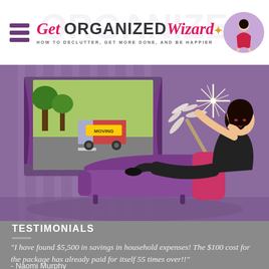Get Organized Wizard – HOW TO DECLUTTER, GET MORE DONE, AND BE HAPPIER
[Figure (illustration): Cartoon illustration of a woman in a black dress sitting on a purple sofa holding a feather duster, with a window showing a moving truck outside and purple curtains, on a purple striped wallpaper background.]
TESTIMONIALS
"I have found $5,500 in savings in household expenses! The $100 cost for the package has already paid for itself 55 times over!!"
- Naomi Murphy